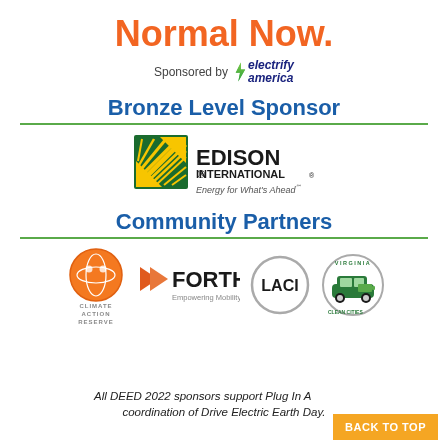Normal Now.
Sponsored by electrify america
Bronze Level Sponsor
[Figure (logo): Edison International logo — Energy for What's Ahead]
Community Partners
[Figure (logo): Four community partner logos: Climate Action Reserve, Forth Empowering Mobility, LACI, Virginia Clean Cities]
All DEED 2022 sponsors support Plug In A... coordination of Drive Electric Earth Day.